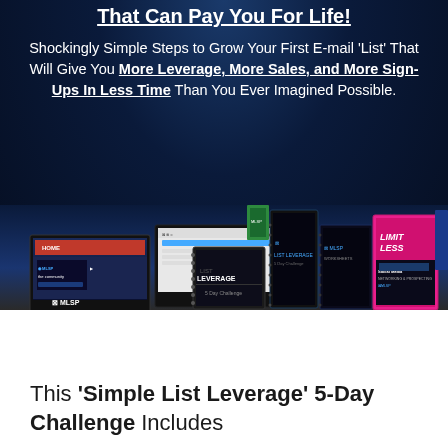That Can Pay You For Life!
Shockingly Simple Steps to Grow Your First E-mail 'List' That Will Give You More Leverage, More Sales, and More Sign-Ups In Less Time Than You Ever Imagined Possible.
[Figure (photo): Collection of digital and physical product mockups including MLSP community software, List Leverage course materials, MLSP worksheets, Limitless book, and Social Media Networking & Prospecting guide arranged in a product display cluster on a dark blue background.]
This 'Simple List Leverage' 5-Day Challenge Includes